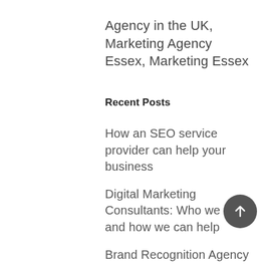Agency in the UK, Marketing Agency Essex, Marketing Essex
Recent Posts
How an SEO service provider can help your business
Digital Marketing Consultants: Who we are and how we can help
Brand Recognition Agency
What do Search Engine optimisation companies in the UK offer?
Search Engine Advertising: What it is,